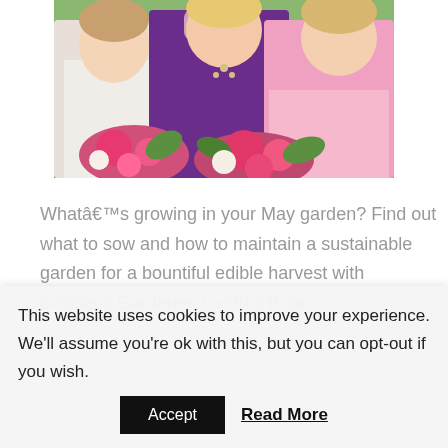[Figure (photo): Three women at a wedding or formal event — one in white, one in purple, one in pink — holding pink and white floral bouquets.]
Whatâs growing in your May garden? Find out what to sow and how to maintain a sustainable garden for a bountiful edible harvest with Goddess Gardener, Cynthia Brian.
This website uses cookies to improve your experience. We'll assume you're ok with this, but you can opt-out if you wish.